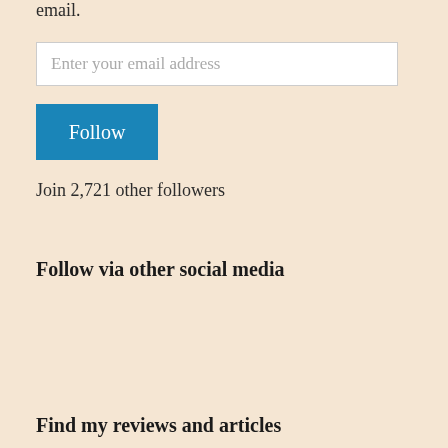email.
Enter your email address
Follow
Join 2,721 other followers
Follow via other social media
Find my reviews and articles